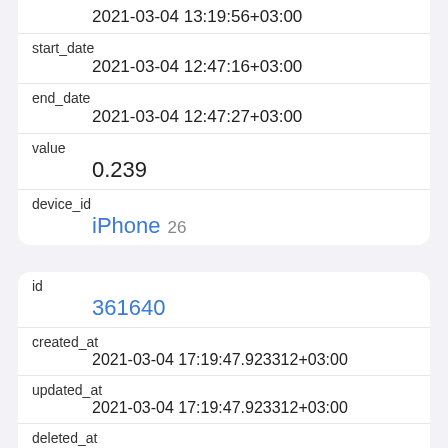|  | 2021-03-04 13:19:56+03:00 |
| start_date | 2021-03-04 12:47:16+03:00 |
| end_date | 2021-03-04 12:47:27+03:00 |
| value | 0.239 |
| device_id | iPhone 26 |
| id | 361640 |
| created_at | 2021-03-04 17:19:47.923312+03:00 |
| updated_at | 2021-03-04 17:19:47.923312+03:00 |
| deleted_at |  |
| type | HKQuantityTypeIdentifierWalkingDoubleSupportPerc |